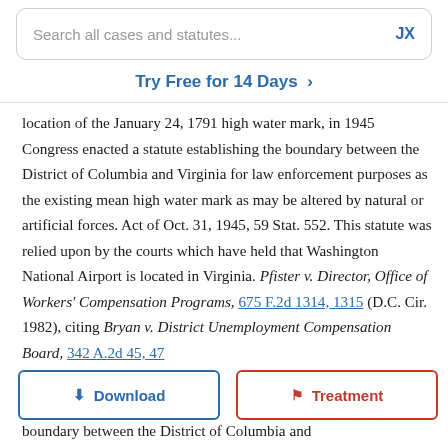Search all cases and statutes... JX
Try Free for 14 Days >
location of the January 24, 1791 high water mark, in 1945 Congress enacted a statute establishing the boundary between the District of Columbia and Virginia for law enforcement purposes as the existing mean high water mark as may be altered by natural or artificial forces. Act of Oct. 31, 1945, 59 Stat. 552. This statute was relied upon by the courts which have held that Washington National Airport is located in Virginia. Pfister v. Director, Office of Workers' Compensation Programs, 675 F.2d 1314, 1315 (D.C. Cir. 1982), citing Bryan v. District Unemployment Compensation Board, 342 A.2d 45, 47 (D[...] er, th[...] sta[...]
[Figure (screenshot): Download and Treatment buttons overlay]
boundary between the District of Columbia and